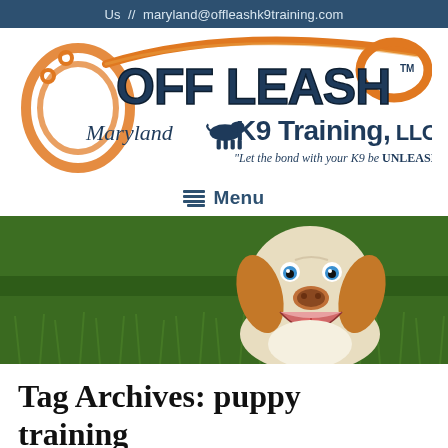Us  //  maryland@offleashk9training.com
[Figure (logo): Off Leash K9 Training, LLC logo with orange leash graphic and dog silhouette. Tagline: "Let the bond with your K9 be UNLEASHED"]
Menu
[Figure (photo): Happy beagle dog sitting on green grass looking up at the camera, mouth open and smiling]
Tag Archives: puppy training